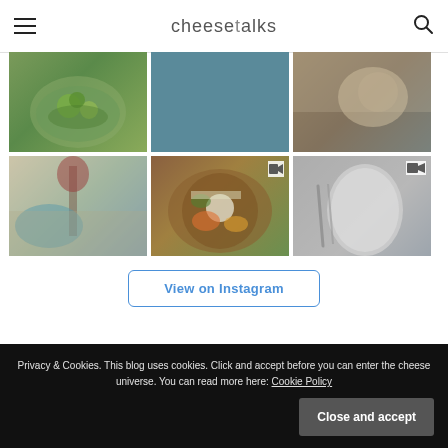cheesetalks
[Figure (photo): Instagram photo grid with 6 food/lifestyle images. Top row: 1) bowl with herbs and lime, 2) solid teal/blue color block, 3) cheese board on wood. Bottom row: 4) dining table with wine glass and blue plate, 5) overhead view of food platter with hummus, cheese, vegetables in terracotta bowl, 6) empty grey oval plate with cutlery on grey linen. Some cells have small photo/video icons.]
View on Instagram
Privacy & Cookies. This blog uses cookies. Click and accept before you can enter the cheese universe. You can read more here: Cookie Policy
Close and accept